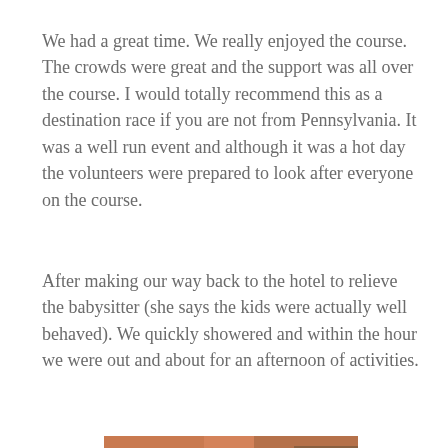We had a great time. We really enjoyed the course. The crowds were great and the support was all over the course. I would totally recommend this as a destination race if you are not from Pennsylvania. It was a well run event and although it was a hot day the volunteers were prepared to look after everyone on the course.
After making our way back to the hotel to relieve the babysitter (she says the kids were actually well behaved). We quickly showered and within the hour we were out and about for an afternoon of activities.
[Figure (photo): A smiling man with dark hair and glasses, photographed indoors with warm orange and brown tones in the background.]